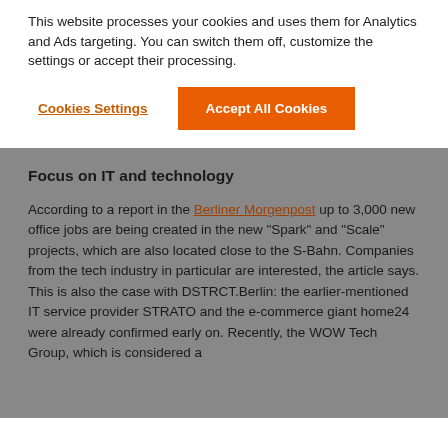This website processes your cookies and uses them for Analytics and Ads targeting. You can switch them off, customize the settings or accept their processing.
Cookies Settings | Accept All Cookies
Focus on IT and technology
According to a report in the Berliner Morgenpost up to 3,000 new office jobs are being created in the new “Spark” and “Scale” projects, which are also located close to the S-Bahn. Companies from the tech industry in particular are interested, the article says. This is also the case with DSTRCT.Berlin: the earlier-mentioned IT service provider STRATO and the e-commerce giant home24 were already confirmed early on. Recently, the WOW Tech Group, which is considered a